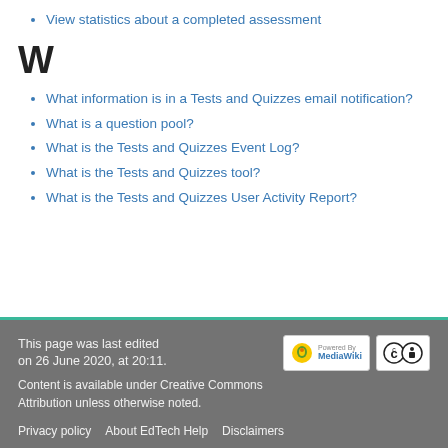View statistics about a completed assessment
W
What information is in a Tests and Quizzes email notification?
What is a question pool?
What is the Tests and Quizzes Event Log?
What is the Tests and Quizzes tool?
What is the Tests and Quizzes User Activity Report?
This page was last edited on 26 June 2020, at 20:11.
Content is available under Creative Commons Attribution unless otherwise noted.
Privacy policy   About EdTech Help   Disclaimers